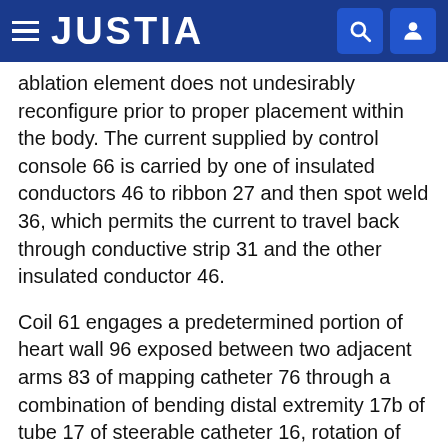JUSTIA
ablation element does not undesirably reconfigure prior to proper placement within the body. The current supplied by control console 66 is carried by one of insulated conductors 46 to ribbon 27 and then spot weld 36, which permits the current to travel back through conductive strip 31 and the other insulated conductor 46.
Coil 61 engages a predetermined portion of heart wall 96 exposed between two adjacent arms 83 of mapping catheter 76 through a combination of bending distal extremity 17b of tube 17 of steerable catheter 16, rotation of the steerable catheter within lumen 81 of mapping catheter 76 and further extension of distal extremity 17b into interior region 97 of the mapping catheter. The engagement of fixation needle 71 with the heart wall assists in guiding coil 61 to and retaining the coil at its desired location on heart wall 96. When so